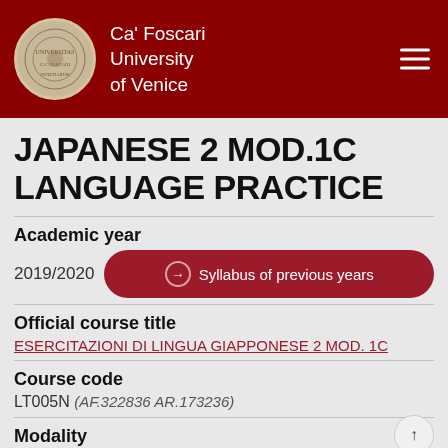Ca' Foscari University of Venice
JAPANESE 2 MOD.1C LANGUAGE PRACTICE
Academic year
2019/2020
Syllabus of previous years
Official course title
ESERCITAZIONI DI LINGUA GIAPPONESE 2 MOD. 1C
Course code
LT005N (AF.322836 AR.173236)
Modality